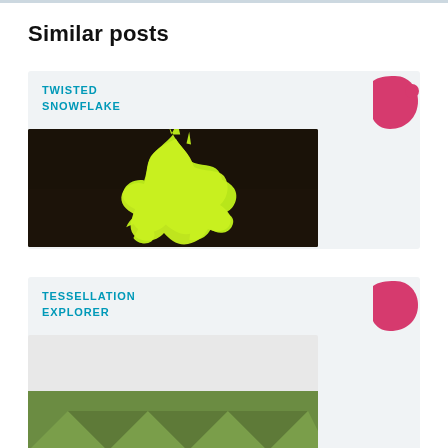Similar posts
[Figure (illustration): Card for 'Twisted Snowflake' post with a lime-green snowflake cutout shape on dark background, with a pink/magenta decorative logo in top right corner]
TWISTED SNOWFLAKE
[Figure (illustration): Card for 'Tessellation Explorer' post with a pink/magenta decorative logo in top right corner and a green geometric shape visible at bottom]
TESSELLATION EXPLORER